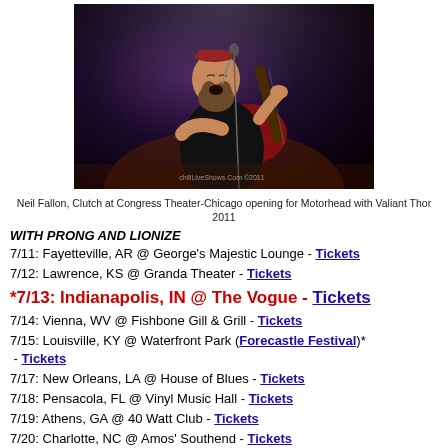[Figure (photo): Concert photo of Neil Fallon of Clutch playing guitar and singing into a microphone on stage, with purple/dark stage lighting. Watermark reads 'chillLiveShows.Com ©2011']
Neil Fallon, Clutch at Congress Theater-Chicago opening for Motorhead with Valiant Thor 2011
WITH PRONG AND LIONIZE
7/11: Fayetteville, AR @ George's Majestic Lounge - Tickets
7/12: Lawrence, KS @ Granda Theater - Tickets
*7/13: Indianapolis, IN @ The Vogue - Tickets
7/14: Vienna, WV @ Fishbone Gill & Grill - Tickets
7/15: Louisville, KY @ Waterfront Park (Forecastle Festival)* - Tickets
7/17: New Orleans, LA @ House of Blues - Tickets
7/18: Pensacola, FL @ Vinyl Music Hall - Tickets
7/19: Athens, GA @ 40 Watt Club - Tickets
7/20: Charlotte, NC @ Amos' Southend - Tickets
7/21: Baltimore, MD @ Artscape Festival* - Free Festival
7/22: Richmond, VA @ The National - Tickets